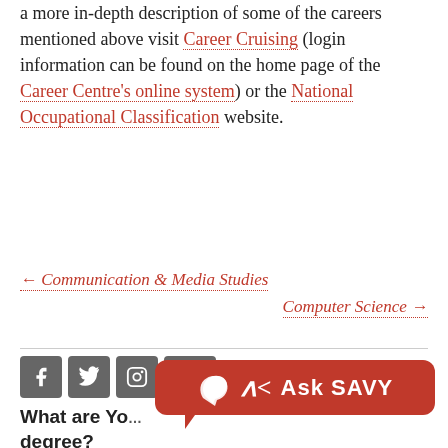a more in-depth description of some of the careers mentioned above visit Career Cruising (login information can be found on the home page of the Career Centre's online system) or the National Occupational Classification website.
← Communication & Media Studies
Computer Science →
[Figure (illustration): Social media icons: Facebook, Twitter, Instagram, YouTube]
[Figure (logo): Ask SAVY chat bubble logo in red]
What are You degree?